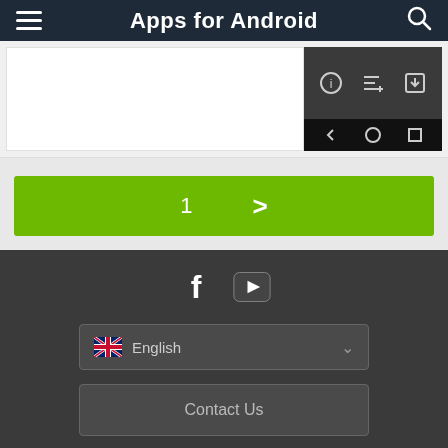Apps for Android
[Figure (screenshot): Screenshot of an Android app page with device toolbar showing info, list, and download icons, plus back, home, and recents nav buttons]
1  >
[Figure (infographic): Social media icons: Facebook (f) and YouTube (play button)]
English (language selector with UK flag and chevron)
Contact Us